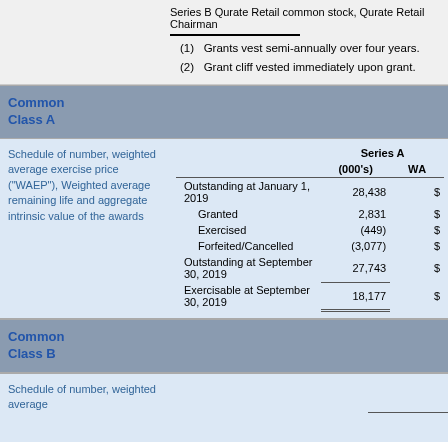Series B Qurate Retail common stock, Qurate Retail Chairman
(1) Grants vest semi-annually over four years.
(2) Grant cliff vested immediately upon grant.
Common Class A
Schedule of number, weighted average exercise price ("WAEP"), Weighted average remaining life and aggregate intrinsic value of the awards
|  | Series A (000's) | WA |
| --- | --- | --- |
| Outstanding at January 1, 2019 | 28,438 | $ |
| Granted | 2,831 | $ |
| Exercised | (449) | $ |
| Forfeited/Cancelled | (3,077) | $ |
| Outstanding at September 30, 2019 | 27,743 | $ |
| Exercisable at September 30, 2019 | 18,177 | $ |
Common Class B
Schedule of number, weighted average